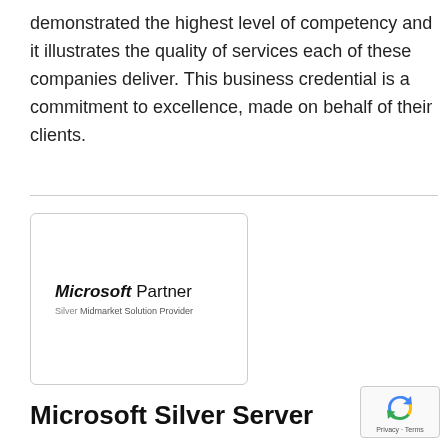demonstrated the highest level of competency and it illustrates the quality of services each of these companies deliver. This business credential is a commitment to excellence, made on behalf of their clients.
[Figure (logo): Microsoft Partner logo with text 'Microsoft Partner' in bold italic, and subtitle 'Silver Midmarket Solution Provider', inside a rounded rectangle border]
Microsoft Silver Server